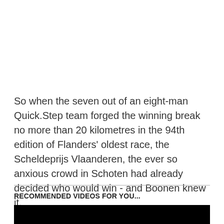So when the seven out of an eight-man Quick.Step team forged the winning break no more than 20 kilometres in the 94th edition of Flanders' oldest race, the Scheldeprijs Vlaanderen, the ever so anxious crowd in Schoten had already decided who would win - and Boonen knew it.
RECOMMENDED VIDEOS FOR YOU...
[Figure (other): Black video player rectangle]